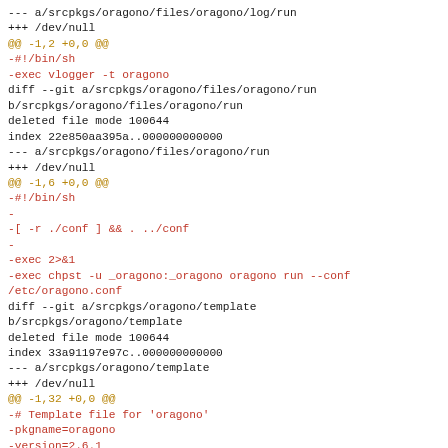--- a/srcpkgs/oragono/files/oragono/log/run
+++ /dev/null
@@ -1,2 +0,0 @@
-#!/bin/sh
-exec vlogger -t oragono
diff --git a/srcpkgs/oragono/files/oragono/run
b/srcpkgs/oragono/files/oragono/run
deleted file mode 100644
index 22e850aa395a..000000000000
--- a/srcpkgs/oragono/files/oragono/run
+++ /dev/null
@@ -1,6 +0,0 @@
-#!/bin/sh
-
-[ -r ./conf ] && . ../conf
-
-exec 2>&1
-exec chpst -u _oragono:_oragono oragono run --conf
/etc/oragono.conf
diff --git a/srcpkgs/oragono/template
b/srcpkgs/oragono/template
deleted file mode 100644
index 33a91197e97c..000000000000
--- a/srcpkgs/oragono/template
+++ /dev/null
@@ -1,32 +0,0 @@
-# Template file for 'oragono'
-pkgname=oragono
-version=2.6.1
-revision=1